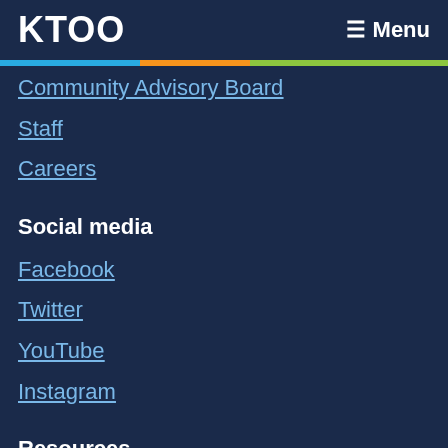KTOO  ≡ Menu
Community Advisory Board
Staff
Careers
Social media
Facebook
Twitter
YouTube
Instagram
Resources
Reports and Financial Statements
FCC Applications